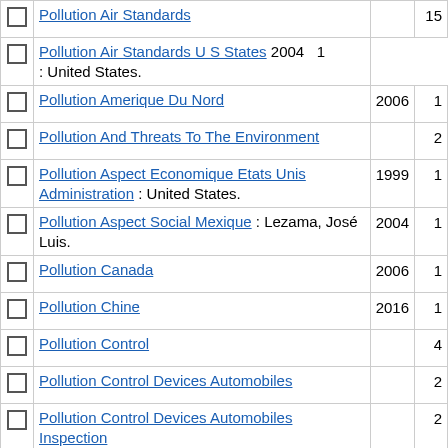|  | Title | Year | Count |
| --- | --- | --- | --- |
| ☐ | Pollution Air Standards |  | 15 |
| ☐ | Pollution Air Standards U S States : United States. | 2004 | 1 |
| ☐ | Pollution Amerique Du Nord | 2006 | 1 |
| ☐ | Pollution And Threats To The Environment |  | 2 |
| ☐ | Pollution Aspect Economique Etats Unis Administration : United States. | 1999 | 1 |
| ☐ | Pollution Aspect Social Mexique : Lezama, José Luis. | 2004 | 1 |
| ☐ | Pollution Canada | 2006 | 1 |
| ☐ | Pollution Chine | 2016 | 1 |
| ☐ | Pollution Control |  | 4 |
| ☐ | Pollution Control Devices Automobiles |  | 2 |
| ☐ | Pollution Control Devices Automobiles Inspection |  | 2 |
| ☐ | Pollution Control Devices Automobiles Law And Legislation | 1994 | 1 |